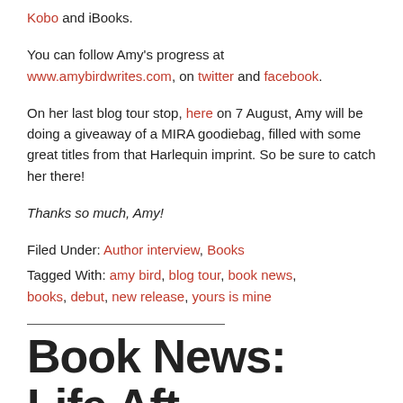Kobo and iBooks.
You can follow Amy's progress at www.amybirdwrites.com, on twitter and facebook.
On her last blog tour stop, here on 7 August, Amy will be doing a giveaway of a MIRA goodiebag, filled with some great titles from that Harlequin imprint. So be sure to catch her there!
Thanks so much, Amy!
Filed Under: Author interview, Books
Tagged With: amy bird, blog tour, book news, books, debut, new release, yours is mine
Book News: Life Aft…